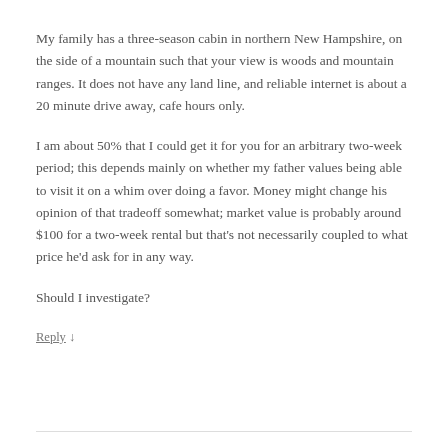My family has a three-season cabin in northern New Hampshire, on the side of a mountain such that your view is woods and mountain ranges. It does not have any land line, and reliable internet is about a 20 minute drive away, cafe hours only.
I am about 50% that I could get it for you for an arbitrary two-week period; this depends mainly on whether my father values being able to visit it on a whim over doing a favor. Money might change his opinion of that tradeoff somewhat; market value is probably around $100 for a two-week rental but that's not necessarily coupled to what price he'd ask for in any way.
Should I investigate?
Reply ↓